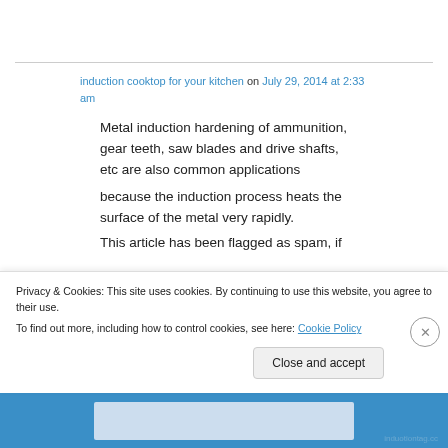induction cooktop for your kitchen on July 29, 2014 at 2:33 am
Metal induction hardening of ammunition, gear teeth, saw blades and drive shafts, etc are also common applications because the induction process heats the surface of the metal very rapidly.
This article has been flagged as spam, if you
Privacy & Cookies: This site uses cookies. By continuing to use this website, you agree to their use. To find out more, including how to control cookies, see here: Cookie Policy
Close and accept